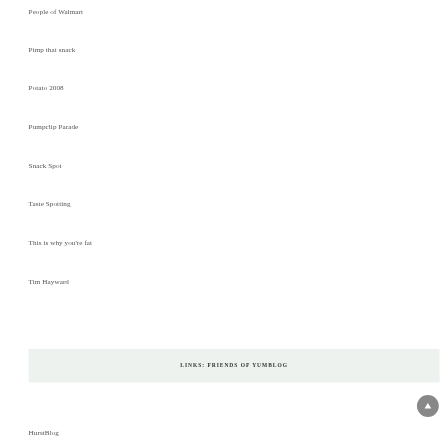People of Walmart
Pimp that snack
Potato 2008
Pumpclip Parade
Snack Spot
Taste Spotting
This is why you're fat
Tim Hayward
LINKS: FRIENDS OF YUMBLOG
HurstBlog